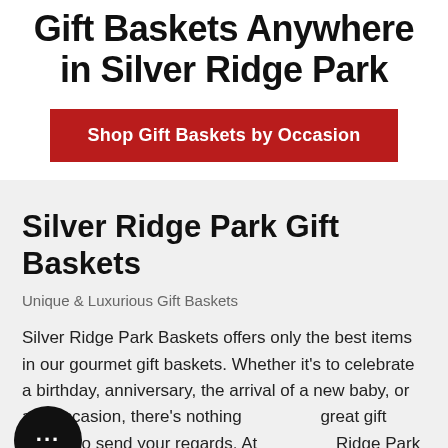Gift Baskets Anywhere in Silver Ridge Park
Shop Gift Baskets by Occasion
Silver Ridge Park Gift Baskets
Unique & Luxurious Gift Baskets
Silver Ridge Park Baskets offers only the best items in our gourmet gift baskets. Whether it's to celebrate a birthday, anniversary, the arrival of a new baby, or any occasion, there's nothing great gift basket to send your regards. At Ridge Park Gift Baskets we have the best gourmet foods as well as the finest in wine, champagne, beer and liquor, to make every one